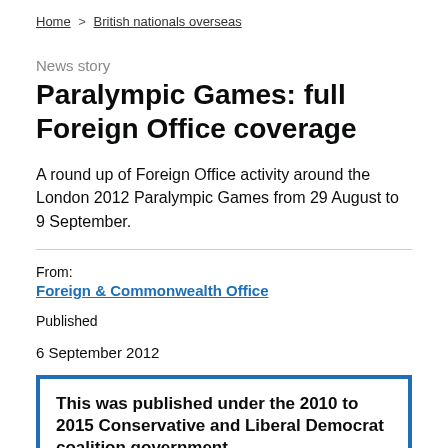Home > British nationals overseas
News story
Paralympic Games: full Foreign Office coverage
A round up of Foreign Office activity around the London 2012 Paralympic Games from 29 August to 9 September.
From:
Foreign & Commonwealth Office
Published
6 September 2012
This was published under the 2010 to 2015 Conservative and Liberal Democrat coalition government.